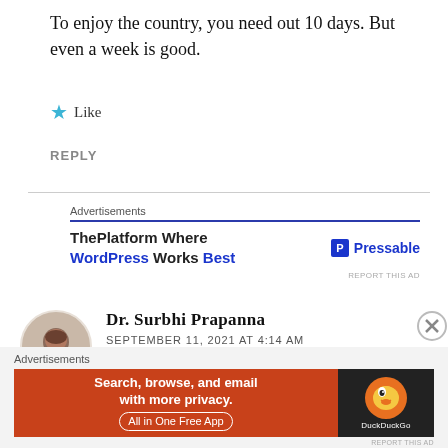To enjoy the country, you need out 10 days. But even a week is good.
★ Like
REPLY
[Figure (infographic): Advertisement banner: ThePlatform Where WordPress Works Best — Pressable logo]
Dr. Surbhi Prapanna
SEPTEMBER 11, 2021 AT 4:14 AM
[Figure (infographic): Advertisement banner: DuckDuckGo — Search, browse, and email with more privacy. All in One Free App]